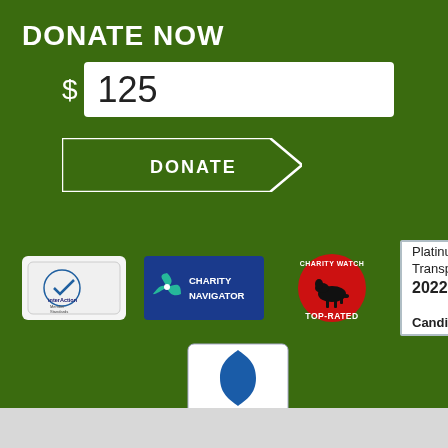DONATE NOW
$ 125
DONATE
[Figure (logo): InterAction Member Standards logo - circular badge with checkmark on white/gray rounded rectangle background]
[Figure (logo): Charity Navigator logo - blue rectangle with teal windmill/pinwheel graphic and white text 'CHARITY NAVIGATOR']
[Figure (logo): Charity Watch Top-Rated logo - red circular badge with dog silhouette and text 'CHARITY WATCH TOP-RATED']
[Figure (logo): Candid Platinum Transparency 2022 badge - white box with gray border, text reading 'Platinum Transparency 2022' and bold 'Candid.']
[Figure (logo): BBB Accredited Charity logo - blue shield with stylized S/flame shape, text 'BBB ACCREDITED CHARITY' below]